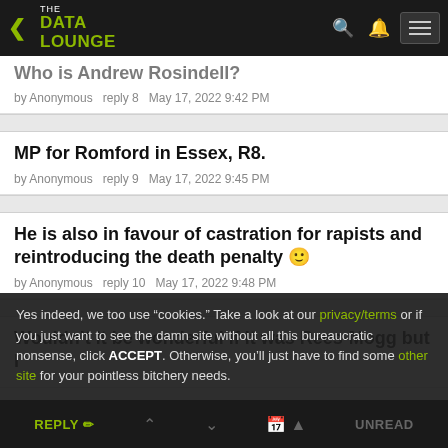The Data Lounge — navigation bar
Who is Andrew Rosindell? (truncated)
by Anonymous   reply 8   May 17, 2022 9:42 PM
MP for Romford in Essex, R8.
by Anonymous   reply 9   May 17, 2022 9:45 PM
He is also in favour of castration for rapists and reintroducing the death penalty 🤢
by Anonymous   reply 10   May 17, 2022 9:48 PM
Wouldn't it be wonderful if it was Rees-Mogg but I
Yes indeed, we too use "cookies." Take a look at our privacy/terms or if you just want to see the damn site without all this bureaucratic nonsense, click ACCEPT. Otherwise, you'll just have to find some other site for your pointless bitchery needs.
REPLY  ▲  ▼  📅 ▲  UNREAD